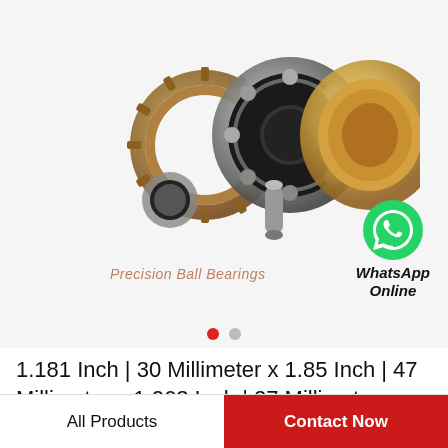[Figure (photo): Multiple precision ball bearings of different types and sizes arranged together — including angular contact, deep groove, and thrust bearings in silver, bronze, and gold finishes. Also shows a WhatsApp online badge (green phone icon) and text 'WhatsApp Online'. Watermark text 'Precision Ball Bearings' in orange-brown below the bearings.]
1.181 Inch | 30 Millimeter x 1.85 Inch | 47 Millimeter x 1.063 Inch | 27 Millimeter TIMK…
All Products
Contact Now